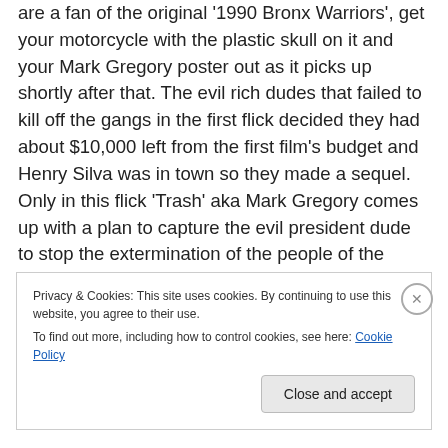are a fan of the original '1990 Bronx Warriors', get your motorcycle with the plastic skull on it and your Mark Gregory poster out as it picks up shortly after that. The evil rich dudes that failed to kill off the gangs in the first flick decided they had about $10,000 left from the first film's budget and Henry Silva was in town so they made a sequel. Only in this flick 'Trash' aka Mark Gregory comes up with a plan to capture the evil president dude to stop the extermination of the people of the Bronx. Problem is the film leaves you thinking there may be a third film and it's not 1983 so I am not sure if Enzo G. Castellari still has
Privacy & Cookies: This site uses cookies. By continuing to use this website, you agree to their use.
To find out more, including how to control cookies, see here: Cookie Policy